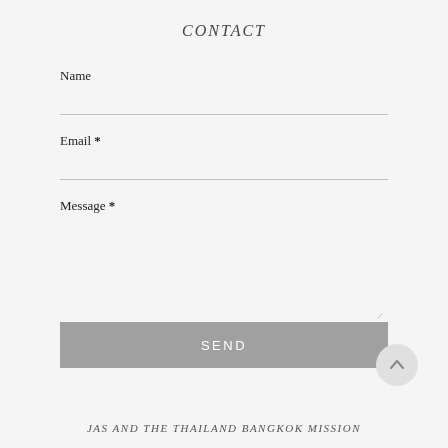CONTACT
Name
Email *
Message *
SEND
JAS AND THE THAILAND BANGKOK MISSION